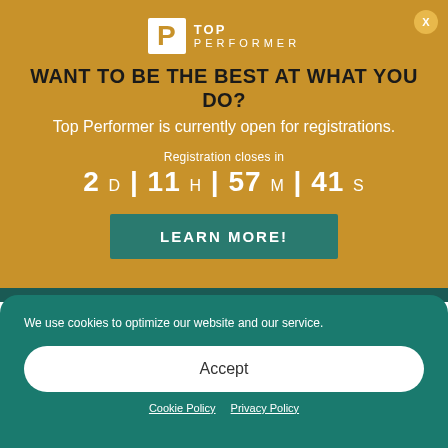[Figure (logo): Top Performer logo with white P icon and text TOP PERFORMER]
WANT TO BE THE BEST AT WHAT YOU DO?
Top Performer is currently open for registrations.
Registration closes in 2 D | 11 H | 57 M | 41 S
LEARN MORE!
We use cookies to optimize our website and our service.
Accept
Cookie Policy   Privacy Policy